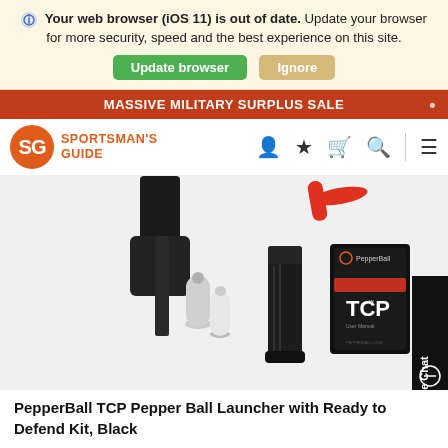Your web browser (iOS 11) is out of date. Update your browser for more security, speed and the best experience on this site.
Update browser  Ignore
MASSIVE MILITARY SURPLUS SALE
[Figure (logo): Sportsman's Guide logo - orange SG initials in circle with brand name text]
[Figure (photo): PepperBall TCP Pepper Ball Launcher product image showing launcher, CO2 cartridges, magazine, and TCP user manual booklet on white background]
PepperBall TCP Pepper Ball Launcher with Ready to Defend Kit, Black